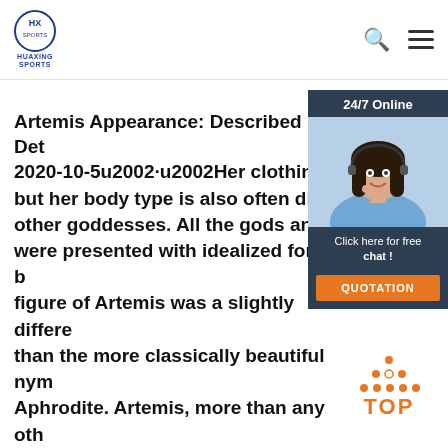HUAXING SPORTS
Artemis Appearance: Described in Det… 2020-10-5u2002·u2002Her clothing is… but her body type is also often dissim… other goddesses. All the gods and go… were presented with idealized forms, b… figure of Artemis was a slightly differe… than the more classically beautiful nym… Aphrodite. Artemis, more than any oth… goddess, showed youth and fitness to…
...
[Figure (other): Get Price orange button]
[Figure (other): 24/7 Online chat widget with woman in headset, Click here for free chat!, QUOTATION button]
[Figure (other): Back to TOP button with orange dotted triangle and orange TOP text]